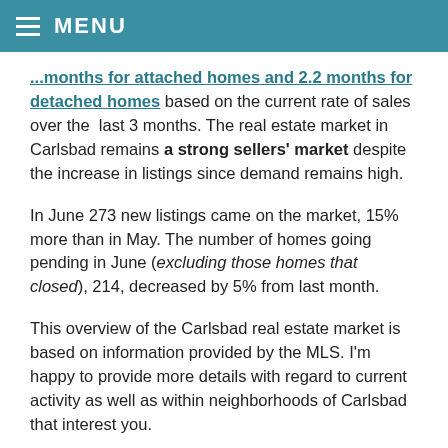MENU
...months for attached homes and 2.2 months for detached homes based on the current rate of sales over the last 3 months. The real estate market in Carlsbad remains a strong sellers' market despite the increase in listings since demand remains high.
In June 273 new listings came on the market, 15% more than in May. The number of homes going pending in June (excluding those homes that closed), 214, decreased by 5% from last month.
This overview of the Carlsbad real estate market is based on information provided by the MLS. I'm happy to provide more details with regard to current activity as well as within neighborhoods of Carlsbad that interest you.
Please contact me at (760) 840-1360 so we can discuss your housing needs, and any questions you have so we can create a strategy for you to compete effectively and